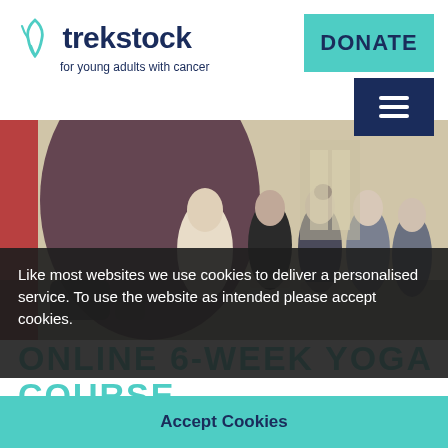[Figure (logo): Trekstock logo: teal leaf/check icon beside bold dark navy text 'trekstock' with tagline 'for young adults with cancer']
DONATE
[Figure (other): Hamburger menu icon (three horizontal lines) on dark navy background]
[Figure (photo): Group of young adults seated in a row in a yoga class, eyes closed in meditation pose. A blonde instructor stands to the left. Indoor studio setting.]
Like most websites we use cookies to deliver a personalised service. To use the website as intended please accept cookies.
Accept Cookies
ONLINE 6-WEEK YOGA COURSE